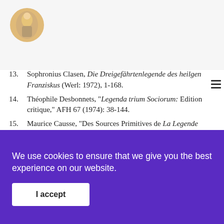[Website header with logo and navigation]
13. Sophronius Clasen, Die Dreigefährtenlegende des heilgen Franziskus (Werl: 1972), 1-168.
14. Théophile Desbonnets, "Legenda trium Sociorum: Edition critique," AFH 67 (1974): 38-144.
15. Maurice Causse, "Des Sources Primitives de La Legende des Trois Compagnons," CF 68/3-4 (1998): 469-491.
16. The request of the General Chapter of Genoa is known only from this letter, although Arnald of Sarrant described it in 1365 in his Chronicle of the Twenty-four Generals. Arnald of Sarrant, "Chronica generalium ministrorum ordinis fratrum minorum cum pluribus appendicibus inter quas
We use cookies to ensure that we give you the best experience on our website.
I accept